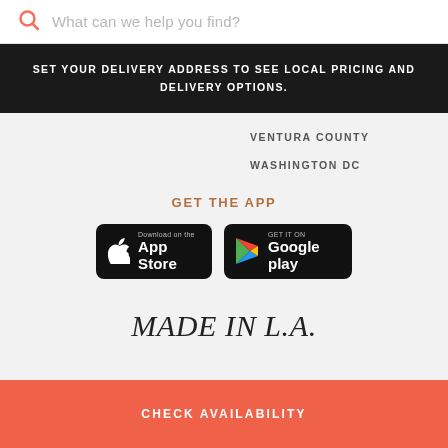What can we help you find?
SET YOUR DELIVERY ADDRESS TO SEE LOCAL PRICING AND DELIVERY OPTIONS.
VENTURA COUNTY
WASHINGTON DC
GET THE APP
[Figure (other): App Store and Google Play download buttons]
MADE IN L.A.
CHECK AVAILABILITY